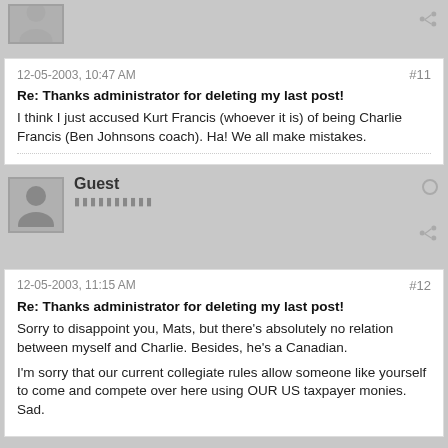12-05-2003, 10:47 AM
#11
Re: Thanks administrator for deleting my last post!
I think I just accused Kurt Francis (whoever it is) of being Charlie Francis (Ben Johnsons coach). Ha! We all make mistakes.
Guest
12-05-2003, 11:15 AM
#12
Re: Thanks administrator for deleting my last post!
Sorry to disappoint you, Mats, but there's absolutely no relation between myself and Charlie. Besides, he's a Canadian.
I'm sorry that our current collegiate rules allow someone like yourself to come and compete over here using OUR US taxpayer monies. Sad.